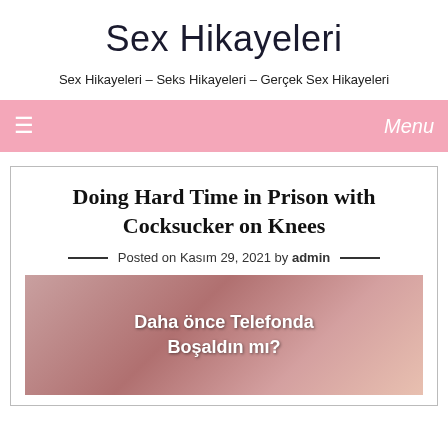Sex Hikayeleri
Sex Hikayeleri – Seks Hikayeleri – Gerçek Sex Hikayeleri
☰  Menu
Doing Hard Time in Prison with Cocksucker on Knees
Posted on Kasım 29, 2021 by admin
[Figure (photo): Image with text overlay reading 'Daha önce Telefonda Boşaldın mı?' over a photo background]